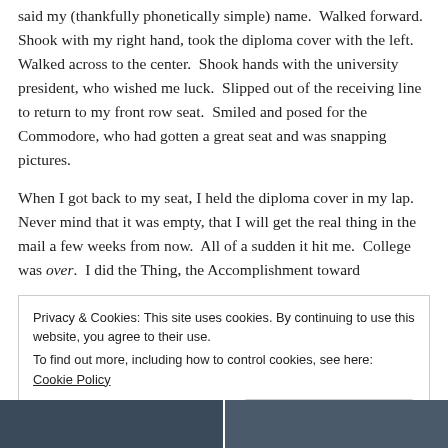said my (thankfully phonetically simple) name.  Walked forward.  Shook with my right hand, took the diploma cover with the left.  Walked across to the center.  Shook hands with the university president, who wished me luck.  Slipped out of the receiving line to return to my front row seat.  Smiled and posed for the Commodore, who had gotten a great seat and was snapping pictures.
When I got back to my seat, I held the diploma cover in my lap.  Never mind that it was empty, that I will get the real thing in the mail a few weeks from now.  All of a sudden it hit me.  College was over.  I did the Thing, the Accomplishment toward
Privacy & Cookies: This site uses cookies. By continuing to use this website, you agree to their use.
To find out more, including how to control cookies, see here: Cookie Policy
Close and accept
[Figure (photo): Bottom strip showing two photo panels in dark blue/grey tones, possibly of a building or exterior scene.]